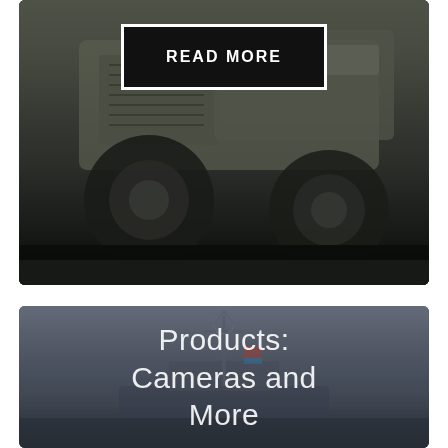[Figure (photo): Military truck vehicle on a dark background with a READ MORE button overlay at the top]
[Figure (photo): Naval warship with mast and antenna on a grey-blue water background, with overlay text 'Products: Cameras and More']